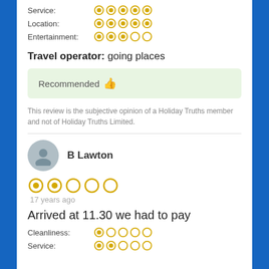Service: ★★★★★
Location: ★★★★★
Entertainment: ★★★☆☆
Travel operator: going places
Recommended 👍
This review is the subjective opinion of a Holiday Truths member and not of Holiday Truths Limited.
B Lawton
[Figure (other): User avatar placeholder icon, circular grey]
2 stars out of 5
17 years ago
Arrived at 11.30 we had to pay
Cleanliness: 1 star
Service: 2 stars